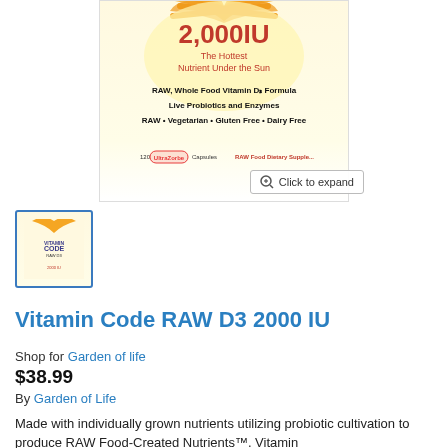[Figure (photo): Product image of Vitamin Code RAW D3 2000 IU supplement bottle with sun graphic, showing '2,000IU The Hottest Nutrient Under the Sun', RAW Whole Food Vitamin D3 Formula, Live Probiotics and Enzymes, RAW Vegetarian Gluten Free Dairy Free text on yellow/white background with orange sun rays]
[Figure (photo): Thumbnail image of Vitamin Code RAW D3 supplement bottle]
Vitamin Code RAW D3 2000 IU
Shop for Garden of life
$38.99
By Garden of Life
Made with individually grown nutrients utilizing probiotic cultivation to produce RAW Food-Created Nutrients™. Vitamin